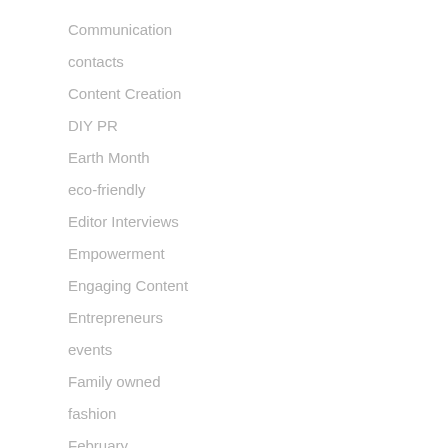Communication
contacts
Content Creation
DIY PR
Earth Month
eco-friendly
Editor Interviews
Empowerment
Engaging Content
Entrepreneurs
events
Family owned
fashion
February
Food Writer
Freelancer
galentinesday